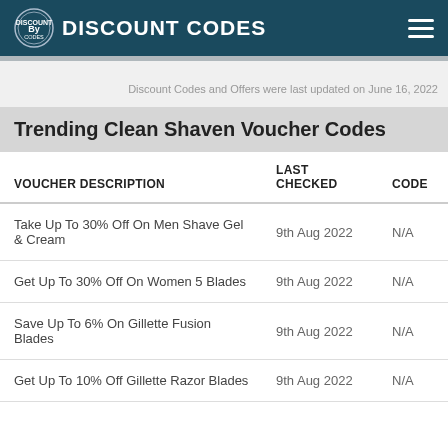DISCOUNT CODES
Discount Codes and Offers were last updated on June 16, 2022
Trending Clean Shaven Voucher Codes
| VOUCHER DESCRIPTION | LAST CHECKED | CODE |
| --- | --- | --- |
| Take Up To 30% Off On Men Shave Gel & Cream | 9th Aug 2022 | N/A |
| Get Up To 30% Off On Women 5 Blades | 9th Aug 2022 | N/A |
| Save Up To 6% On Gillette Fusion Blades | 9th Aug 2022 | N/A |
| Get Up To 10% Off Gillette Razor Blades | 9th Aug 2022 | N/A |